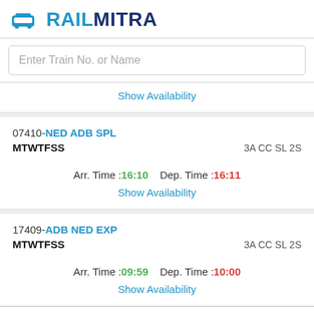[Figure (logo): RailMitra logo with train icon]
Enter Train No. or Name
Show Availability
07410-NED ADB SPL
MTWTFSS    3A CC SL 2S
Arr. Time :16:10   Dep. Time :16:11
Show Availability
17409-ADB NED EXP
MTWTFSS    3A CC SL 2S
Arr. Time :09:59   Dep. Time :10:00
Show Availability